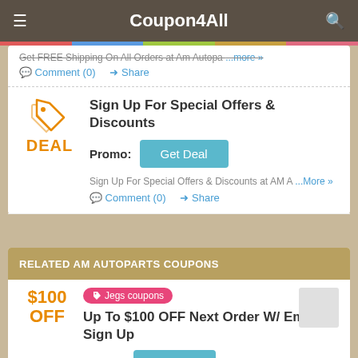Coupon4All
Get FREE Shipping On All Orders at Am Autopa ...more »
Comment (0)   Share
Sign Up For Special Offers & Discounts
Promo:
Get Deal
Sign Up For Special Offers & Discounts at AM A ...More »
Comment (0)   Share
RELATED AM AUTOPARTS COUPONS
Jegs coupons
Up To $100 OFF Next Order W/ Email Sign Up
Promo:
Get Deal